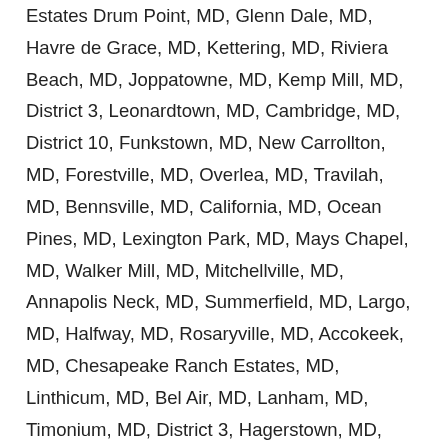Estates Drum Point, MD, Glenn Dale, MD, Havre de Grace, MD, Kettering, MD, Riviera Beach, MD, Joppatowne, MD, Kemp Mill, MD, District 3, Leonardtown, MD, Cambridge, MD, District 10, Funkstown, MD, New Carrollton, MD, Forestville, MD, Overlea, MD, Travilah, MD, Bennsville, MD, California, MD, Ocean Pines, MD, Lexington Park, MD, Mays Chapel, MD, Walker Mill, MD, Mitchellville, MD, Annapolis Neck, MD, Summerfield, MD, Largo, MD, Halfway, MD, Rosaryville, MD, Accokeek, MD, Chesapeake Ranch Estates, MD, Linthicum, MD, Bel Air, MD, Lanham, MD, Timonium, MD, District 3, Hagerstown, MD, Coral Hills, MD, Lake Arbor, MD, Brock Hall, MD, North Kensington, MD, White Marsh, MD, Marlboro Village, MD, District 3, Middletown, MD, Mount Airy, MD, Bladensburg, MD, Fort Meade, MD, Friendly, MD, Urbana, MD, Marlton, MD, Edgewater, MD, La Plata, MD, Fallston, MD, District 5, Queenstown, MD, Garrison, MD, Frostburg, MD, District 1, Taneytown, MD, Leisure World,